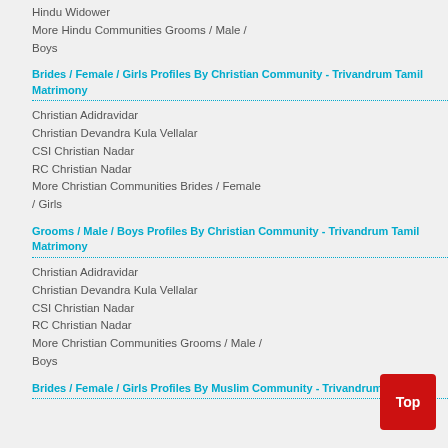Hindu Widower
More Hindu Communities Grooms / Male / Boys
Brides / Female / Girls Profiles By Christian Community - Trivandrum Tamil Matrimony
Christian Adidravidar
Christian Devandra Kula Vellalar
CSI Christian Nadar
RC Christian Nadar
More Christian Communities Brides / Female / Girls
Grooms / Male / Boys Profiles By Christian Community - Trivandrum Tamil Matrimony
Christian Adidravidar
Christian Devandra Kula Vellalar
CSI Christian Nadar
RC Christian Nadar
More Christian Communities Grooms / Male / Boys
Brides / Female / Girls Profiles By Muslim Community - Trivandrum